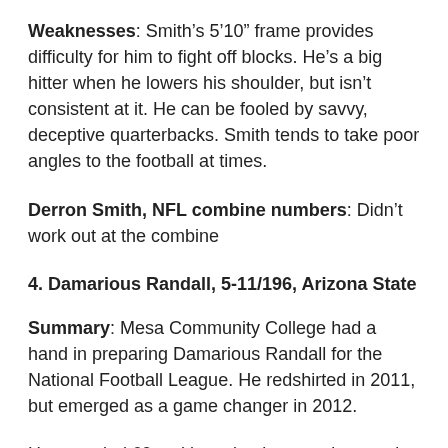Weaknesses: Smith's 5'10" frame provides difficulty for him to fight off blocks. He's a big hitter when he lowers his shoulder, but isn't consistent at it. He can be fooled by savvy, deceptive quarterbacks. Smith tends to take poor angles to the football at times.
Derron Smith, NFL combine numbers: Didn't work out at the combine
4. Damarious Randall, 5-11/196, Arizona State
Summary: Mesa Community College had a hand in preparing Damarious Randall for the National Football League. He redshirted in 2011, but emerged as a game changer in 2012.
He recorded 69 tackles, nine interceptions and five total touchdowns (2 receiving, 2 punt returns and 1